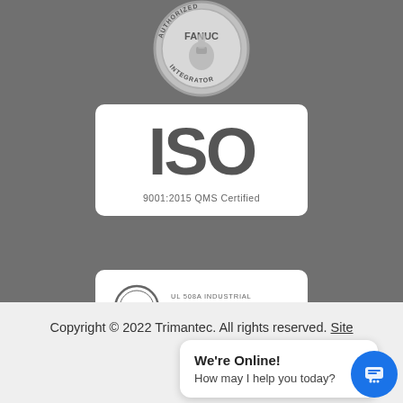[Figure (logo): FANUC Authorized Integrator silver badge/medallion at top center]
[Figure (logo): ISO 9001:2015 QMS Certified white card with large ISO text]
[Figure (logo): UL 508A Industrial Control Panel Fabricator white card with UL circle logo]
Copyright © 2022 Trimantec. All rights reserved. Site
We're Online!
How may I help you today?